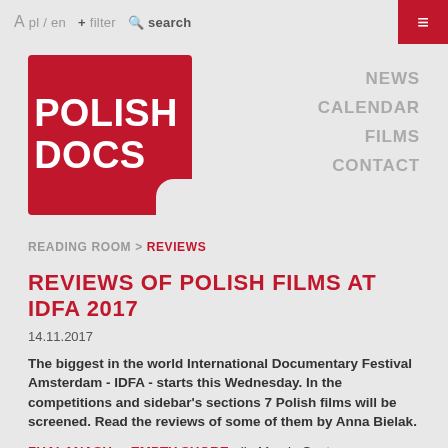A pl / en   + filter   Q search   ≡
[Figure (logo): Polish Docs red logo with white text reading POLISH DOCS, with a notched bottom-right corner]
NEWS  CALENDAR  FILMS  CONTACT
READING ROOM > REVIEWS
REVIEWS OF POLISH FILMS AT IDFA 2017
14.11.2017
The biggest in the world International Documentary Festival Amsterdam - IDFA - starts this Wednesday. In the competitions and sidebar's sections 7 Polish films will be screened. Read the reviews of some of them by Anna Bielak.
ZHALANASH – EMPTY SHORE, dir. Marcin Sauter - international premiere at IDFA Competition for Short Documentary